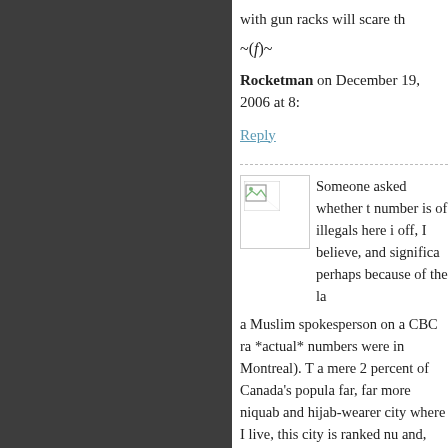with gun racks will scare th
~(f)~
Rocketman on December 19, 2006 at 8:
Reply
[Figure (photo): Broken avatar image placeholder]
Someone asked whether t number is of illegals here i off, I believe, and significa perhaps because of the la a Muslim spokesperson on a CBC ra *actual* numbers were in Montreal). T a mere 2 percent of Canada's popula far, far more niquab and hijab-wearer city where I live, this city is ranked nu and, again, I see fewer natives, far mo — women without covered hair, they a Anyway, the number two immigrant g is Muslim. Muslims comprise a huge a built everywhere, so are Islamic scho hawking Korans,etc.)
So, if you're concerned about the nu